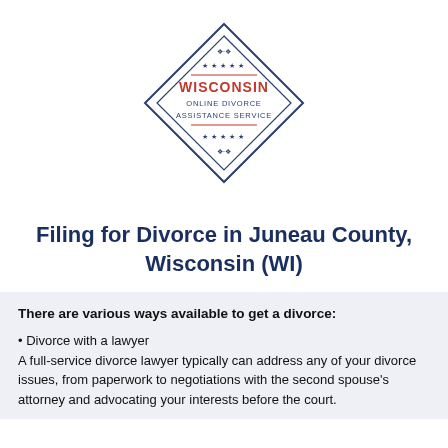[Figure (logo): Wisconsin Online Divorce Assistance Service logo — diamond/rhombus shape in navy blue outline with 'WISCONSIN' in red uppercase text, 'ONLINE DIVORCE ASSISTANCE SERVICE' in navy small caps, decorative stars and ornaments inside the diamond.]
Filing for Divorce in Juneau County, Wisconsin (WI)
There are various ways available to get a divorce:
• Divorce with a lawyer
A full-service divorce lawyer typically can address any of your divorce issues, from paperwork to negotiations with the second spouse's attorney and advocating your interests before the court.